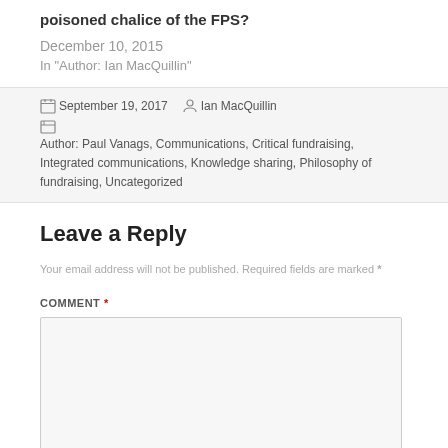poisoned chalice of the FPS?
December 10, 2015
In "Author: Ian MacQuillin"
September 19, 2017   Ian MacQuillin   Author: Paul Vanags, Communications, Critical fundraising, Integrated communications, Knowledge sharing, Philosophy of fundraising, Uncategorized
Leave a Reply
Your email address will not be published. Required fields are marked *
COMMENT *